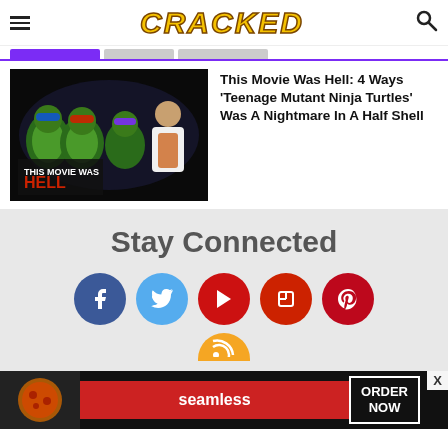CRACKED
[Figure (screenshot): Thumbnail image of Teenage Mutant Ninja Turtles characters with a person on a dark background, with text overlay reading 'THIS MOVIE WAS HELL']
This Movie Was Hell: 4 Ways 'Teenage Mutant Ninja Turtles' Was A Nightmare In A Half Shell
Stay Connected
[Figure (infographic): Social media icons row: Facebook (blue circle), Twitter (light blue circle), YouTube (red circle), Flipboard (red square-in-circle), Pinterest (dark red circle), and partial RSS (orange circle)]
[Figure (photo): Seamless food delivery advertisement banner with pizza image, seamless logo, and ORDER NOW button]